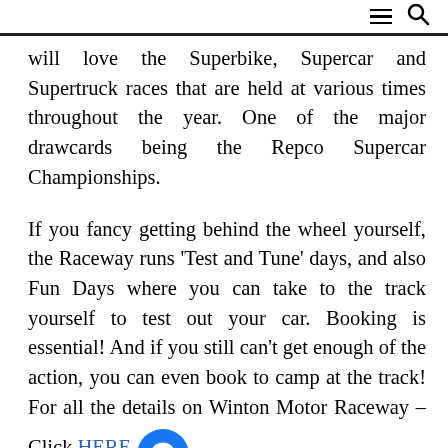≡ 🔍
will love the Superbike, Supercar and Supertruck races that are held at various times throughout the year. One of the major drawcards being the Repco Supercar Championships.
If you fancy getting behind the wheel yourself, the Raceway runs 'Test and Tune' days, and also Fun Days where you can take to the track yourself to test out your car. Booking is essential! And if you still can't get enough of the action, you can even book to camp at the track! For all the details on Winton Motor Raceway – Click HERE
Winton Wetlands